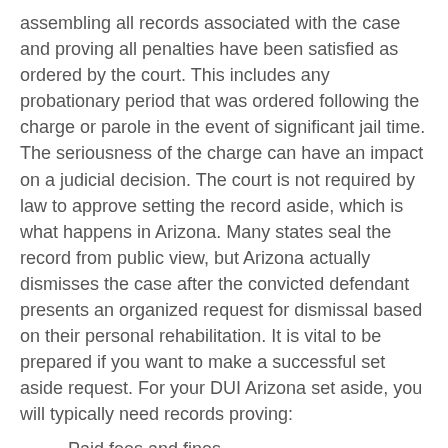assembling all records associated with the case and proving all penalties have been satisfied as ordered by the court. This includes any probationary period that was ordered following the charge or parole in the event of significant jail time. The seriousness of the charge can have an impact on a judicial decision. The court is not required by law to approve setting the record aside, which is what happens in Arizona. Many states seal the record from public view, but Arizona actually dismisses the case after the convicted defendant presents an organized request for dismissal based on their personal rehabilitation. It is vital to be prepared if you want to make a successful set aside request. For your DUI Arizona set aside, you will typically need records proving:
Paid fees and fines
Completed probation or parole periods
Jail sentence completion
Completing mandatory alcohol and / or drug education classes
Completing interlock ignition device order periods